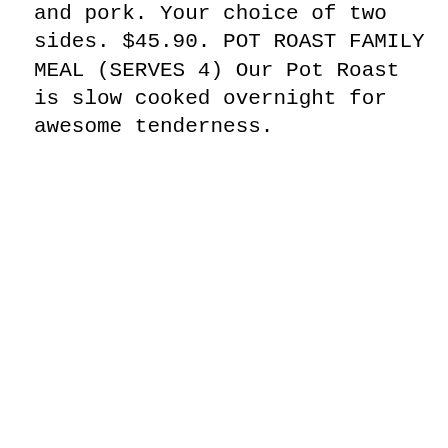and pork. Your choice of two sides. $45.90. POT ROAST FAMILY MEAL (SERVES 4) Our Pot Roast is slow cooked overnight for awesome tenderness.